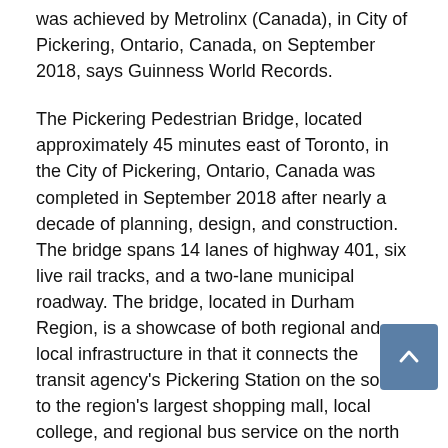was achieved by Metrolinx (Canada), in City of Pickering, Ontario, Canada, on September 2018, says Guinness World Records.
The Pickering Pedestrian Bridge, located approximately 45 minutes east of Toronto, in the City of Pickering, Ontario, Canada was completed in September 2018 after nearly a decade of planning, design, and construction. The bridge spans 14 lanes of highway 401, six live rail tracks, and a two-lane municipal roadway. The bridge, located in Durham Region, is a showcase of both regional and local infrastructure in that it connects the transit agency's Pickering Station on the south to the region's largest shopping mall, local college, and regional bus service on the north side.
The bridge's iconic architecture is highlighted at night with close to 300 LED lights, giving its organic shape a beautiful, soft glow. The bridge has been featured in a number of publications and received the City of Pickering's 2019 Urban Design Award. In addition, following a worldwide competition Metrolinx also received the 2019 Engineering News Record (ENR) Global